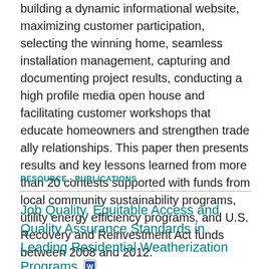building a dynamic informational website, maximizing customer participation, selecting the winning home, seamless installation management, capturing and documenting project results, conducting a high profile media open house and facilitating customer workshops that educate homeowners and strengthen trade ally relationships. This paper then presents results and key lessons learned from more than 20 contests supported with funds from local community sustainability programs, utility energy efficiency programs, and U.S. Recovery and Reinvestment Act funds between 2008 and 2012.
RESOURCE - PUBLICATIONS
Job Quality, Equitable Access and Quality Assurance Standards in Leading Residential Weatherization Programs